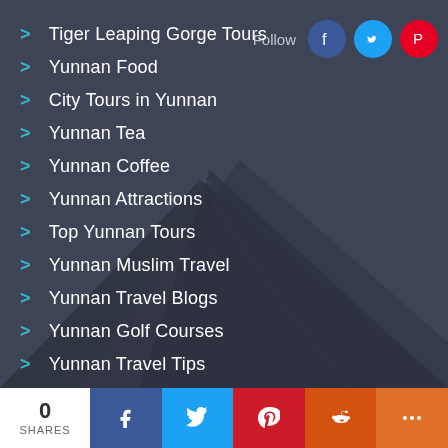Tiger Leaping Gorge Tours
Yunnan Food
City Tours in Yunnan
Yunnan Tea
Yunnan Coffee
Yunnan Attractions
Top Yunnan Tours
Yunnan Muslim Travel
Yunnan Travel Blogs
Yunnan Golf Courses
Yunnan Travel Tips
0 SHARES | Facebook | Twitter | Pinterest | Reddit | More